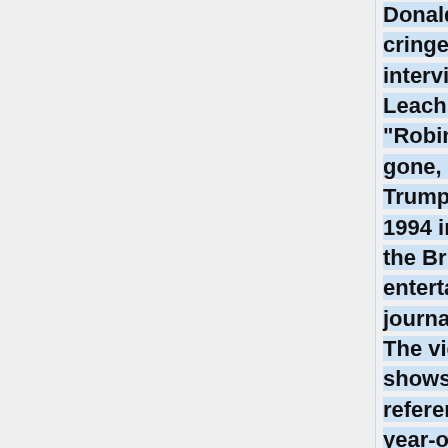Donald Trump's cringe-worthy 1994 interview with Robin Leach", 2018/08/24]: "Robin Leach may be gone, but President Trump's cringe-worthy 1994 interview with the British entertainment journalist lives on. The video — which shows The Donald referencing his one-year-old daughter Tiffany's breasts while